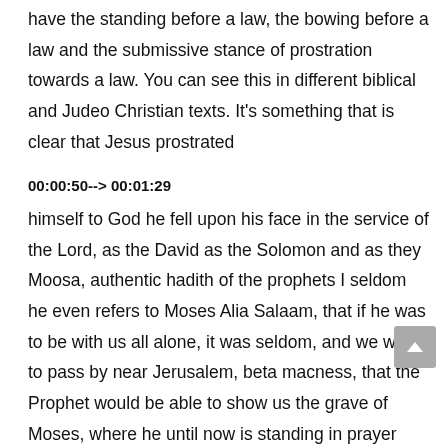have the standing before a law, the bowing before a law and the submissive stance of prostration towards a law. You can see this in different biblical and Judeo Christian texts. It's something that is clear that Jesus prostrated
00:00:50--> 00:01:29
himself to God he fell upon his face in the service of the Lord, as the David as the Solomon and as they Moosa, authentic hadith of the prophets I seldom he even refers to Moses Alia Salaam, that if he was to be with us all alone, it was seldom, and we were to pass by near Jerusalem, beta macness, that the Prophet would be able to show us the grave of Moses, where he until now is standing in prayer before a law. Hey, thank you for watching and subscribe so you can continue to get the rest of the videos I don't know what somewhere over here, there, whatever, whatnot. It's beautiful. This this series of videos face